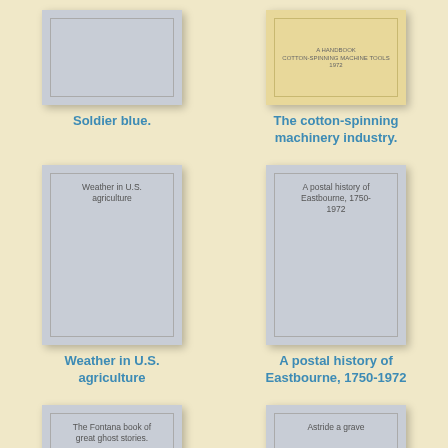[Figure (illustration): Book cover placeholder - gray]
Soldier blue.
[Figure (illustration): Book cover placeholder - yellow/cream]
The cotton-spinning machinery industry.
[Figure (illustration): Book cover with text: Weather in U.S. agriculture]
Weather in U.S. agriculture
[Figure (illustration): Book cover with text: A postal history of Eastbourne, 1750-1972]
A postal history of Eastbourne, 1750-1972
[Figure (illustration): Book cover with text: The Fontana book of great ghost stories.]
[Figure (illustration): Book cover with text: Astride a grave]